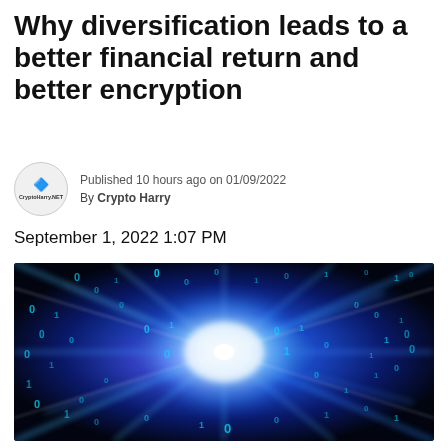Why diversification leads to a better financial return and better encryption
Published 10 hours ago on 01/09/2022
By Crypto Harry
September 1, 2022 1:07 PM
[Figure (photo): A digital art image showing glowing blue binary digits (0s and 1s) radiating outward from a bright central light source against a dark background, creating a tunnel/vortex effect. The numbers appear to stream through space with a blue and purple glow.]